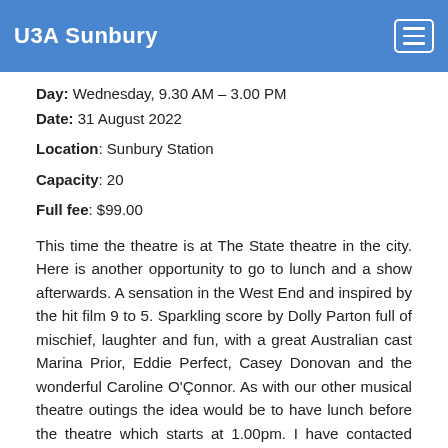U3A Sunbury
Day: Wednesday, 9.30 AM – 3.00 PM
Date: 31 August 2022
Location: Sunbury Station
Capacity: 20
Full fee: $99.00
This time the theatre is at The State theatre in the city. Here is another opportunity to go to lunch and a show afterwards. A sensation in the West End and inspired by the hit film 9 to 5. Sparkling score by Dolly Parton full of mischief, laughter and fun, with a great Australian cast Marina Prior, Eddie Perfect, Casey Donovan and the wonderful Caroline O'Çonnor. As with our other musical theatre outings the idea would be to have lunch before the theatre which starts at 1.00pm. I have contacted Young and Jackson and they are happy to have us back again but this time with a